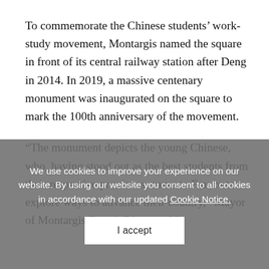To commemorate the Chinese students' work-study movement, Montargis named the square in front of its central railway station after Deng in 2014. In 2019, a massive centenary monument was inaugurated on the square to mark the 100th anniversary of the movement.
“The monument depicts the young Chinese, who, having stood out as the best students from their respective provinces, came to France to explore ways to advance their country,” Mayor of Montargis Benoit Digeon told
We use cookies to improve your experience on our website. By using our website you consent to all cookies in accordance with our updated Cookie Notice.
I accept